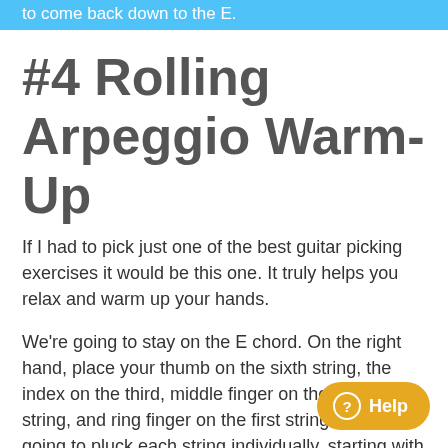to come back down to the E.
#4 Rolling Arpeggio Warm-Up
If I had to pick just one of the best guitar picking exercises it would be this one. It truly helps you relax and warm up your hands.
We're going to stay on the E chord. On the right hand, place your thumb on the sixth string, the index on the third, middle finger on the second string, and ring finger on the first string. We're going to pluck each string individually, starting with the sixth, th third, second, and first.